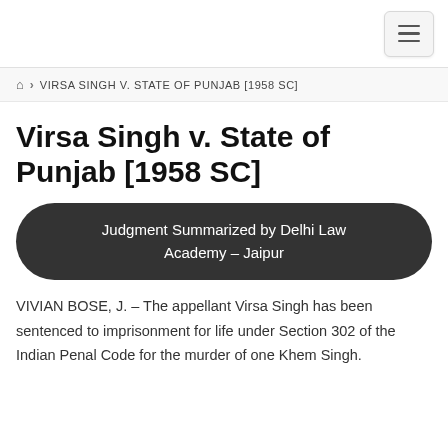Navigation bar with hamburger menu
🏠 > VIRSA SINGH V. STATE OF PUNJAB [1958 SC]
Virsa Singh v. State of Punjab [1958 SC]
Judgment Summarized by Delhi Law Academy – Jaipur
VIVIAN BOSE, J. – The appellant Virsa Singh has been sentenced to imprisonment for life under Section 302 of the Indian Penal Code for the murder of one Khem Singh.